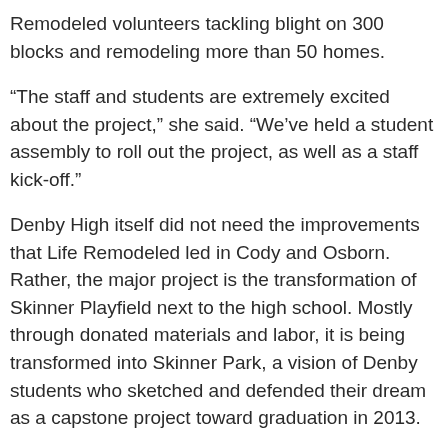Remodeled volunteers tackling blight on 300 blocks and remodeling more than 50 homes.
“The staff and students are extremely excited about the project,” she said. “We’ve held a student assembly to roll out the project, as well as a staff kick-off.”
Denby High itself did not need the improvements that Life Remodeled led in Cody and Osborn. Rather, the major project is the transformation of Skinner Playfield next to the high school. Mostly through donated materials and labor, it is being transformed into Skinner Park, a vision of Denby students who sketched and defended their dream as a capstone project toward graduation in 2013.
“I think the community will ensure that Skinner Park